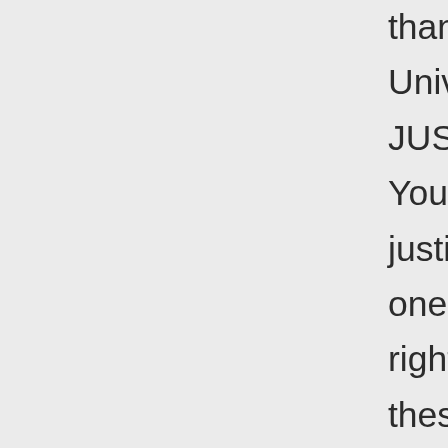than the Creator of Universe for me to be JUSTIFIED before Him. You are right in that God justify families/cities by one person's righteousness. However these scriptures did not teach its readers to believe in the righteous acts of Noah , Abraham or Moses for them to be made right with God.The God of the